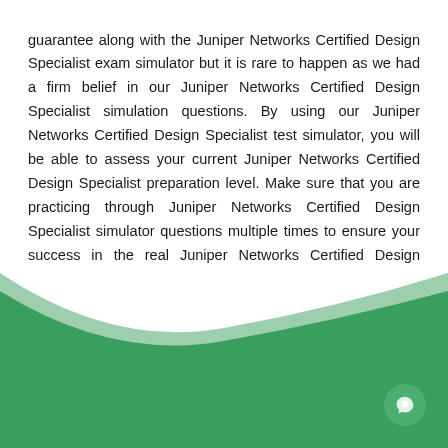guarantee along with the Juniper Networks Certified Design Specialist exam simulator but it is rare to happen as we had a firm belief in our Juniper Networks Certified Design Specialist simulation questions. By using our Juniper Networks Certified Design Specialist test simulator, you will be able to assess your current Juniper Networks Certified Design Specialist preparation level. Make sure that you are practicing through Juniper Networks Certified Design Specialist simulator questions multiple times to ensure your success in the real Juniper Networks Certified Design Specialist exam.
[Figure (illustration): Green wave/banner decorative element at the bottom of the page with a chat bubble icon in the bottom-right corner]